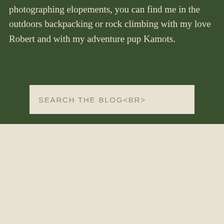photographing elopements, you can find me in the outdoors backpacking or rock climbing with my love Robert and with my adventure pup Kamots.
SEARCH THE BLOG<BR>